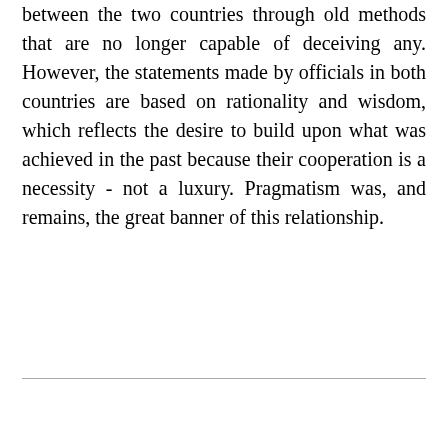between the two countries through old methods that are no longer capable of deceiving any. However, the statements made by officials in both countries are based on rationality and wisdom, which reflects the desire to build upon what was achieved in the past because their cooperation is a necessity - not a luxury. Pragmatism was, and remains, the great banner of this relationship.